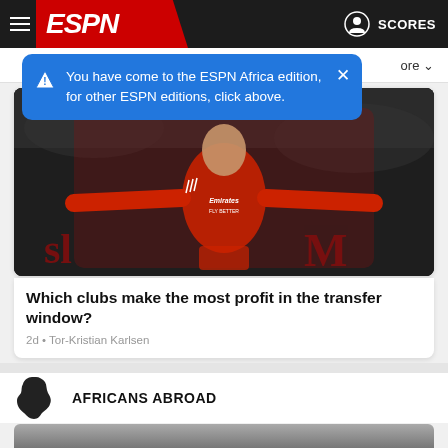ESPN — SCORES
You have come to the ESPN Africa edition, for other ESPN editions, click above.
More
[Figure (photo): Soccer player in red Benfica Emirates kit with arms outstretched]
Which clubs make the most profit in the transfer window?
2d • Tor-Kristian Karlsen
AFRICANS ABROAD
[Figure (photo): Partial photo of a soccer player in a white or light-colored kit, bottom of page]